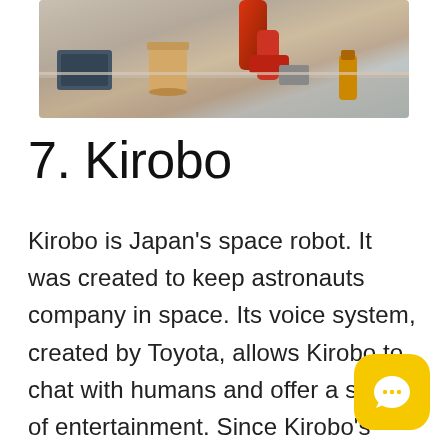[Figure (photo): A robot arm or robotic device in a kitchen or workspace setting, with cups and bottles visible on a counter. Red robotic arm components are visible.]
7. Kirobo
Kirobo is Japan's space robot. It was created to keep astronauts company in space. Its voice system, created by Toyota, allows Kirobo to chat with humans and offer a source of entertainment. Since Kirobo's return from space, Toyota has developed the Kirobo Mini, a version of Kirobo to accompany you during your everyday